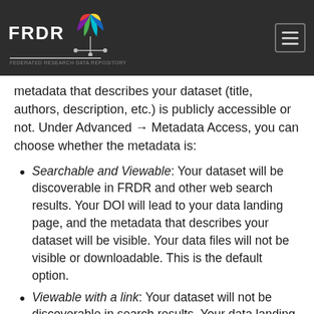FRDR [logo]
metadata that describes your dataset (title, authors, description, etc.) is publicly accessible or not. Under Advanced → Metadata Access, you can choose whether the metadata is:
Searchable and Viewable: Your dataset will be discoverable in FRDR and other web search results. Your DOI will lead to your data landing page, and the metadata that describes your dataset will be visible. Your data files will not be visible or downloadable. This is the default option.
Viewable with a link: Your dataset will not be discoverable in search results. Your data landing page and the metadata that describe your dataset can only be accessed by using the DOI